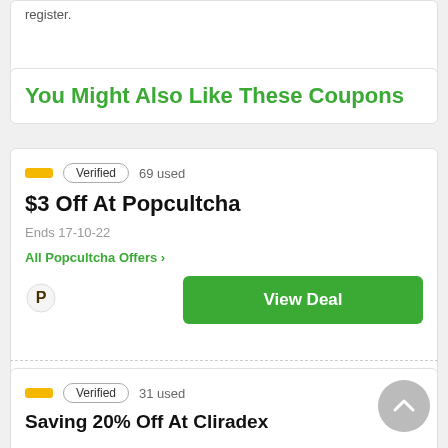register.
You Might Also Like These Coupons
Verified  69 used
$3 Off At Popcultcha
Ends 17-10-22
All Popcultcha Offers ›
View Deal
Verified  31 used
Saving 20% Off At Cliradex
Ends 18-10-22
All Cliradex Offers ›